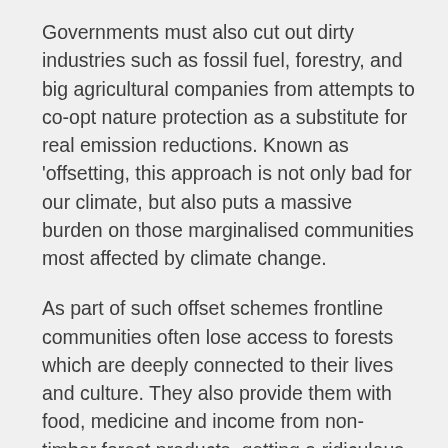Governments must also cut out dirty industries such as fossil fuel, forestry, and big agricultural companies from attempts to co-opt nature protection as a substitute for real emission reductions. Known as ‘offsetting, this approach is not only bad for our climate, but also puts a massive burden on those marginalised communities most affected by climate change.
As part of such offset schemes frontline communities often lose access to forests which are deeply connected to their lives and culture. They also provide them with food, medicine and income from non-timber forest products, getting a ridiculous amount of money in return.
In other cases, they lose access to land they rely on for food production, as it is being occupied by large corporations for planting monoculture tree plantations. All that for an often bogus and always uncertain reduction in